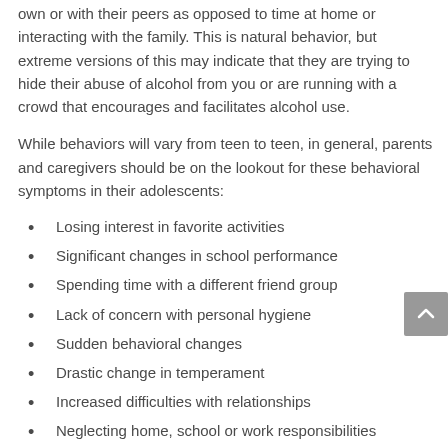own or with their peers as opposed to time at home or interacting with the family. This is natural behavior, but extreme versions of this may indicate that they are trying to hide their abuse of alcohol from you or are running with a crowd that encourages and facilitates alcohol use.
While behaviors will vary from teen to teen, in general, parents and caregivers should be on the lookout for these behavioral symptoms in their adolescents:
Losing interest in favorite activities
Significant changes in school performance
Spending time with a different friend group
Lack of concern with personal hygiene
Sudden behavioral changes
Drastic change in temperament
Increased difficulties with relationships
Neglecting home, school or work responsibilities
Asking for money all of a sudden